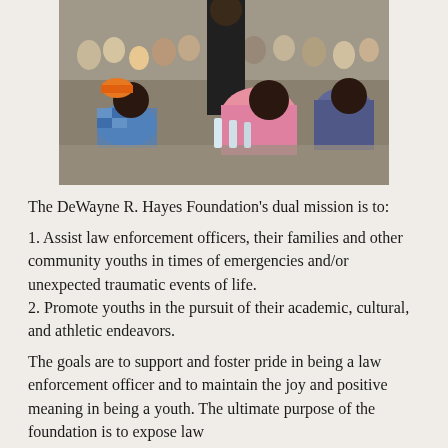[Figure (photo): Outdoor community gathering scene with people of various ages seated at tables, eating and socializing. A person in a black shirt stands in the background.]
The DeWayne R. Hayes Foundation's dual mission is to:
1. Assist law enforcement officers, their families and other community youths in times of emergencies and/or unexpected traumatic events of life.
2. Promote youths in the pursuit of their academic, cultural, and athletic endeavors.
The goals are to support and foster pride in being a law enforcement officer and to maintain the joy and positive meaning in being a youth. The ultimate purpose of the foundation is to expose law